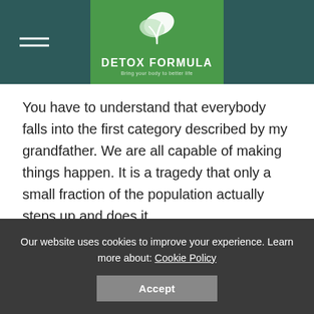[Figure (logo): Detox Formula logo with green leaf/plant icon on green background, with tagline below]
You have to understand that everybody falls into the first category described by my grandfather. We are all capable of making things happen. It is a tragedy that only a small fraction of the population actually steps up and does it.
Most people would rather take the path of least resistance and do what comes naturally or what
Our website uses cookies to improve your experience. Learn more about: Cookie Policy
Accept